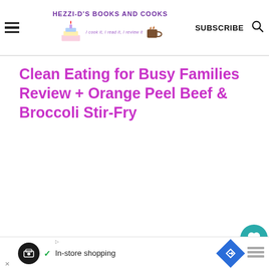HEZZI-D'S BOOKS AND COOKS — I cook it, I read it, I review it | SUBSCRIBE
Clean Eating for Busy Families Review + Orange Peel Beef & Broccoli Stir-Fry
[Figure (photo): Heart/save button icon showing 11.5K saves, and a share button, on the right sidebar]
[Figure (photo): Photo of a plate with a steak, asparagus, and a wedge of onion on a wooden table background]
[Figure (photo): Book cover showing '300 sensational SOUPS' in green and white, with a bowl of soup]
WHAT'S NEXT → Three Tiered Wedding Cake
In-store shopping (advertisement bar)